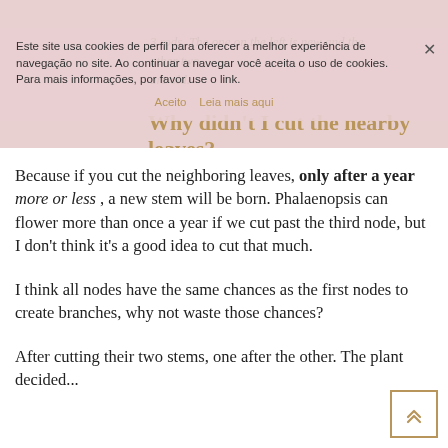3 rods. The one on the left is new and the other two are old.
Este site usa cookies de perfil para oferecer a melhor experiência de navegação no site. Ao continuar a navegar você aceita o uso de cookies. Para mais informações, por favor use o link.
Aceito   Leia mais aqui
Why didn't I cut the nearby leaves?
Because if you cut the neighboring leaves, only after a year more or less , a new stem will be born. Phalaenopsis can flower more than once a year if we cut past the third node, but I don't think it's a good idea to cut that much.
I think all nodes have the same chances as the first nodes to create branches, why not waste those chances?
After cutting their two stems, one after the other. The plant decided...